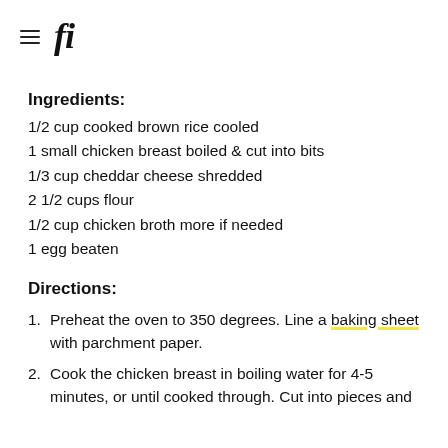≡ fi
Ingredients:
1/2 cup cooked brown rice cooled
1 small chicken breast boiled & cut into bits
1/3 cup cheddar cheese shredded
2 1/2 cups flour
1/2 cup chicken broth more if needed
1 egg beaten
Directions:
1. Preheat the oven to 350 degrees. Line a baking sheet with parchment paper.
2. Cook the chicken breast in boiling water for 4-5 minutes, or until cooked through. Cut into pieces and